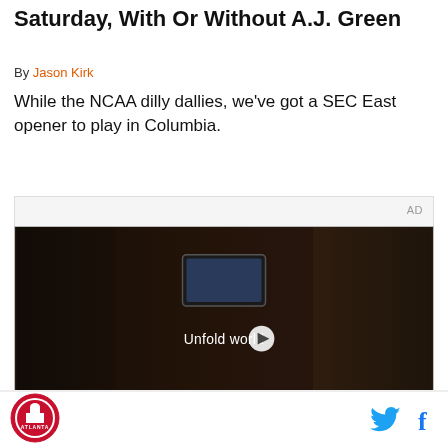Saturday, With Or Without A.J. Green
By Jason Kirk
While the NCAA dilly dallies, we've got a SEC East opener to play in Columbia.
[Figure (screenshot): Video advertisement showing a person holding a folding smartphone in a car, with text 'Unfold your world' and a play button overlay. AD label in top right corner.]
[Figure (logo): Atlanta circular logo with red and black colors]
Twitter and Facebook social media icons